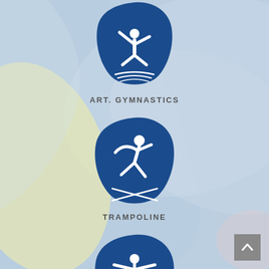[Figure (illustration): Light blue background with decorative yellow and white swoosh shapes]
[Figure (logo): Olympic gymnastics pictogram: dark blue rounded shield shape with white artistic gymnast figure (handstand pose) and three curved lines at bottom]
ART. GYMNASTICS
[Figure (logo): Olympic trampoline pictogram: dark blue rounded shield shape with white figure doing trampoline jump and crossed lines at bottom]
TRAMPOLINE
[Figure (logo): Olympic gymnastics pictogram: dark blue rounded shield shape with white rhythmic/acrobatic gymnast figure and three curved lines at bottom, partially cut off at bottom of page]
[Figure (illustration): Back to top navigation button: grey square with white upward-pointing chevron arrow]